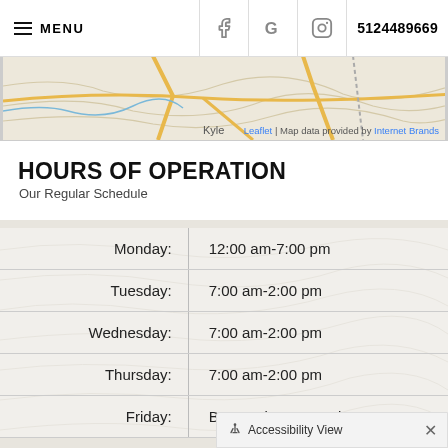≡ MENU   f  G  ☷  5124489669
[Figure (map): Street map snippet showing roads and topographic lines with 'Kyle' label. Attribution: Leaflet | Map data provided by Internet Brands]
HOURS OF OPERATION
Our Regular Schedule
| Day | Hours |
| --- | --- |
| Monday: | 12:00 am-7:00 pm |
| Tuesday: | 7:00 am-2:00 pm |
| Wednesday: | 7:00 am-2:00 pm |
| Thursday: | 7:00 am-2:00 pm |
| Friday: | By Appointment Only |
â™¿ Accessibility View ✕